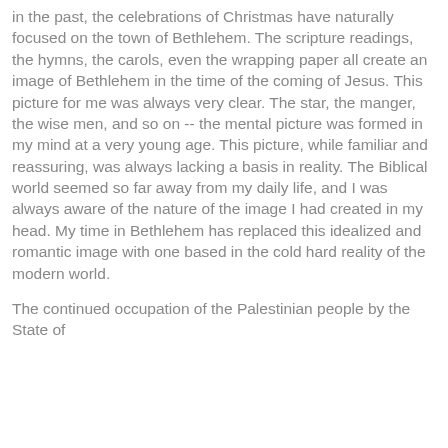in the past, the celebrations of Christmas have naturally focused on the town of Bethlehem. The scripture readings, the hymns, the carols, even the wrapping paper all create an image of Bethlehem in the time of the coming of Jesus. This picture for me was always very clear. The star, the manger, the wise men, and so on -- the mental picture was formed in my mind at a very young age. This picture, while familiar and reassuring, was always lacking a basis in reality. The Biblical world seemed so far away from my daily life, and I was always aware of the nature of the image I had created in my head. My time in Bethlehem has replaced this idealized and romantic image with one based in the cold hard reality of the modern world.
The continued occupation of the Palestinian people by the State of